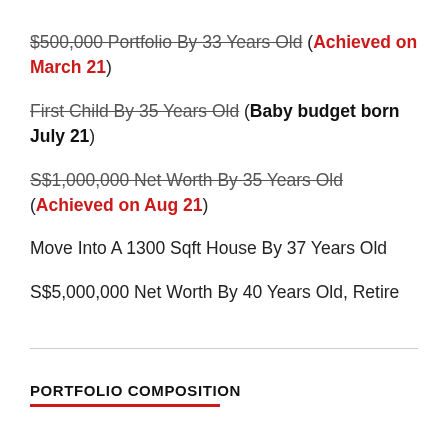$500,000 Portfolio By 33 Years Old (Achieved on March 21)
First Child By 35 Years Old (Baby budget born July 21)
S$1,000,000 Net Worth By 35 Years Old (Achieved on Aug 21)
Move Into A 1300 Sqft House By 37 Years Old
S$5,000,000 Net Worth By 40 Years Old, Retire
PORTFOLIO COMPOSITION